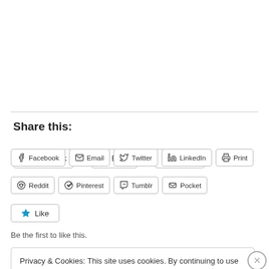Share this:
Facebook
Email
Twitter
LinkedIn
Print
Reddit
Pinterest
Tumblr
Pocket
Like
Be the first to like this.
Privacy & Cookies: This site uses cookies. By continuing to use this website, you agree to their use.
To find out more, including how to control cookies, see here: Cookie Policy
Close and accept